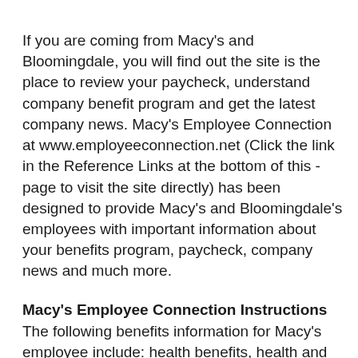If you are coming from Macy's and Bloomingdale, you will find out the site is the place to review your paycheck, understand company benefit program and get the latest company news. Macy's Employee Connection at www.employeeconnection.net (Click the link in the Reference Links at the bottom of this -page to visit the site directly) has been designed to provide Macy's and Bloomingdale's employees with important information about your benefits program, paycheck, company news and much more.
Macy's Employee Connection Instructions
The following benefits information for Macy's employee include: health benefits, health and welfare internet links, retirement, solutions in store and other benefits. All the links are provided for you to connect to information regarding your retirement plan and other